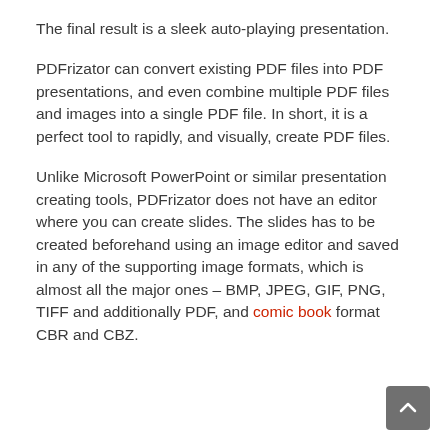The final result is a sleek auto-playing presentation.
PDFrizator can convert existing PDF files into PDF presentations, and even combine multiple PDF files and images into a single PDF file. In short, it is a perfect tool to rapidly, and visually, create PDF files.
Unlike Microsoft PowerPoint or similar presentation creating tools, PDFrizator does not have an editor where you can create slides. The slides has to be created beforehand using an image editor and saved in any of the supporting image formats, which is almost all the major ones – BMP, JPEG, GIF, PNG, TIFF and additionally PDF, and comic book format CBR and CBZ.